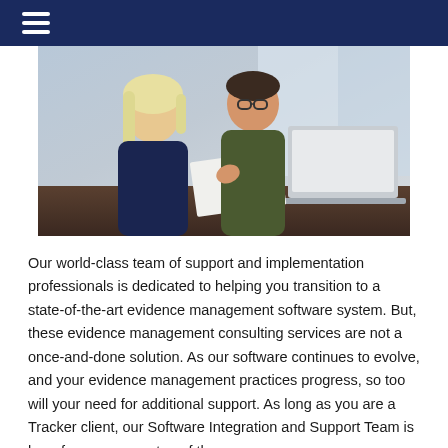[Figure (photo): Two professionals, a woman with blonde hair and a man with glasses, smiling and looking at a document together at a desk with a laptop.]
Our world-class team of support and implementation professionals is dedicated to helping you transition to a state-of-the-art evidence management software system. But, these evidence management consulting services are not a once-and-done solution. As our software continues to evolve, and your evidence management practices progress, so too will your need for additional support. As long as you are a Tracker client, our Software Integration and Support Team is here for you every step of the way.